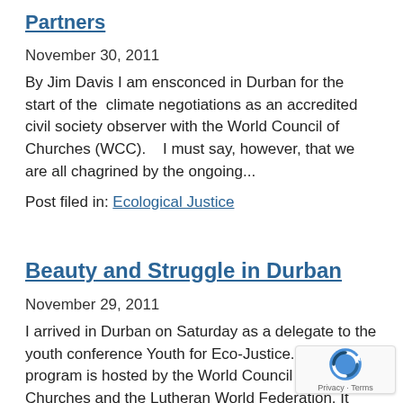Partners
November 30, 2011
By Jim Davis I am ensconced in Durban for the start of the  climate negotiations as an accredited civil society observer with the World Council of Churches (WCC).   I must say, however, that we are all chagrined by the ongoing...
Post filed in: Ecological Justice
Beauty and Struggle in Durban
November 29, 2011
I arrived in Durban on Saturday as a delegate to the youth conference Youth for Eco-Justice. The program is hosted by the World Council of Churches and the Lutheran World Federation. It